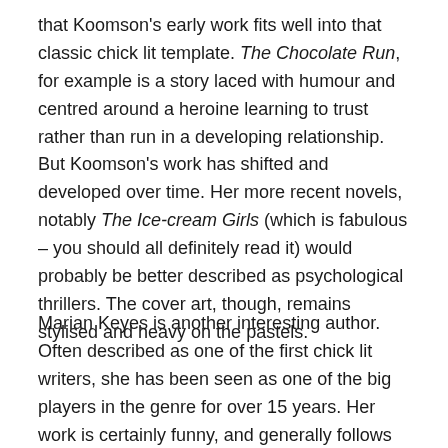that Koomson's early work fits well into that classic chick lit template. The Chocolate Run, for example is a story laced with humour and centred around a heroine learning to trust rather than run in a developing relationship. But Koomson's work has shifted and developed over time. Her more recent novels, notably The Ice-cream Girls (which is fabulous – you should all definitely read it) would probably be better described as psychological thrillers. The cover art, though, remains stylised and heavy on the pastels.
Marian Keyes is another interesting author. Often described as one of the first chick lit writers, she has been seen as one of the big players in the genre for over 15 years. Her work is certainly funny, and generally follows female protagonists. However, in a number of